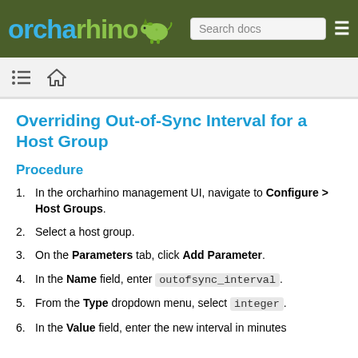orcharhino — Search docs
Overriding Out-of-Sync Interval for a Host Group
Procedure
In the orcharhino management UI, navigate to Configure > Host Groups.
Select a host group.
On the Parameters tab, click Add Parameter.
In the Name field, enter outofsync_interval.
From the Type dropdown menu, select integer.
In the Value field, enter the new interval in minutes